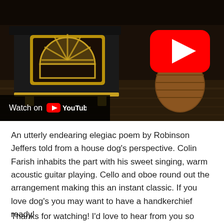[Figure (screenshot): YouTube video thumbnail showing a wood-burning stove with brass/gold accents and decorative sunburst window, with a wicker basket to the right, in a dark rustic interior. A YouTube play button (red rounded rectangle with white triangle) is in the upper right area. A 'Watch on YouTube' bar with the YouTube logo appears at the bottom left of the thumbnail.]
An utterly endearing elegiac poem by Robinson Jeffers told from a house dog's perspective. Colin Farish inhabits the part with his sweet singing, warm acoustic guitar playing. Cello and oboe round out the arrangement making this an instant classic. If you love dog's you may want to have a handkerchief ready!
Thanks for watching! I'd love to hear from you so please